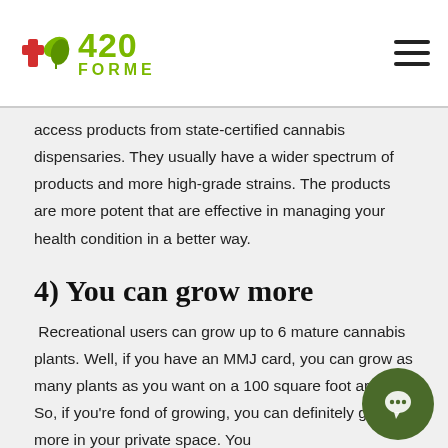420 FORME
access products from state-certified cannabis dispensaries. They usually have a wider spectrum of products and more high-grade strains. The products are more potent that are effective in managing your health condition in a better way.
4) You can grow more
Recreational users can grow up to 6 mature cannabis plants. Well, if you have an MMJ card, you can grow as many plants as you want on a 100 square foot area. So, if you're fond of growing, you can definitely grow more in your private space. You